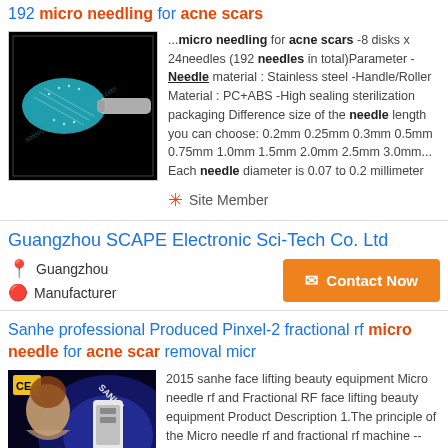192 micro needling for acne scars
[Figure (photo): Derma roller / micro needling device with teal/blue roller head on black background]
...micro needling for acne scars -8 disks x 24needles (192 needles in total)Parameter -Needle material : Stainless steel -Handle/Roller Material : PC+ABS -High sealing sterilization packaging Difference size of the needle length you can choose: 0.2mm 0.25mm 0.3mm 0.5mm 0.75mm 1.0mm 1.5mm 2.0mm 2.5mm 3.0mm... Each needle diameter is 0.07 to 0.2 millimeter
Site Member
Guangzhou SCAPE Electronic Sci-Tech Co. Ltd
Guangzhou
Manufacturer
Contact Now
Sanhe professional Produced Pinxel-2 fractional rf micro needle for acne scar removal micr
[Figure (photo): Beauty equipment machine with woman face on blue background, CE mark visible, SANHE branding]
2015 sanhe face lifting beauty equipment Micro needle rf and Fractional RF face lifting beauty equipment Product Description 1.The principle of the Micro needle rf and fractional rf machine --PINXEL provides direct heat both epidermis and dermis with ...